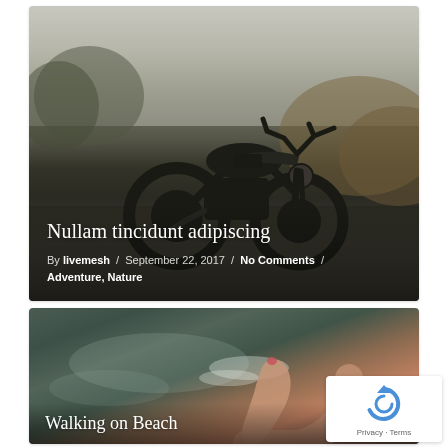[Figure (photo): Black motorcycle parked on a dirt path with forest and dry grass hills in the background, moody overcast sky]
Nullam tincidunt adipiscing
By livemesh / September 22, 2017 / No Comments / Adventure, Nature
[Figure (photo): Close-up of a bare foot stepping on wet dark sand/rock at a beach, with water and green algae visible]
Walking on Beach